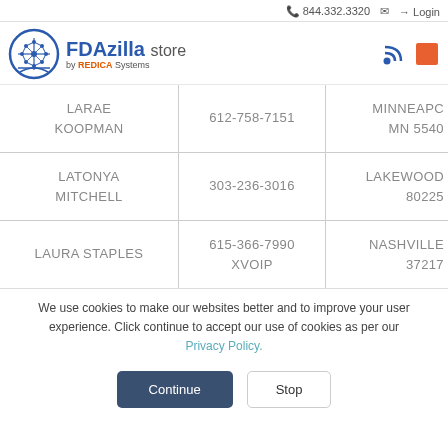844.332.3320  Login
[Figure (logo): FDAzilla store by REDICA Systems logo with circular blue icon]
| Name | Phone | Location |
| --- | --- | --- |
| LARAE KOOPMAN | 612-758-7151 | MINNEAPO MN 5540 |
| LATONYA MITCHELL | 303-236-3016 | LAKEWOOD 80225 |
| LAURA STAPLES | 615-366-7990 XVOIP | NASHVILLE 37217 |
We use cookies to make our websites better and to improve your user experience. Click continue to accept our use of cookies as per our Privacy Policy.